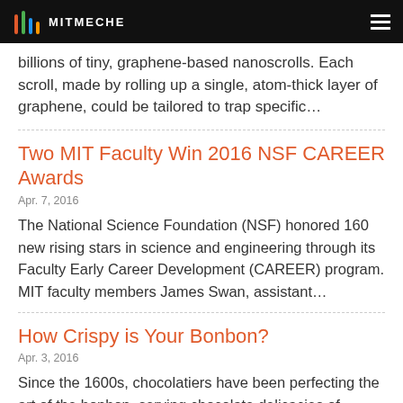MITMECHE
billions of tiny, graphene-based nanoscrolls. Each scroll, made by rolling up a single, atom-thick layer of graphene, could be tailored to trap specific…
Two MIT Faculty Win 2016 NSF CAREER Awards
Apr. 7, 2016
The National Science Foundation (NSF) honored 160 new rising stars in science and engineering through its Faculty Early Career Development (CAREER) program. MIT faculty members James Swan, assistant…
How Crispy is Your Bonbon?
Apr. 3, 2016
Since the 1600s, chocolatiers have been perfecting the art of the bonbon, serving chocolate delicacies of…